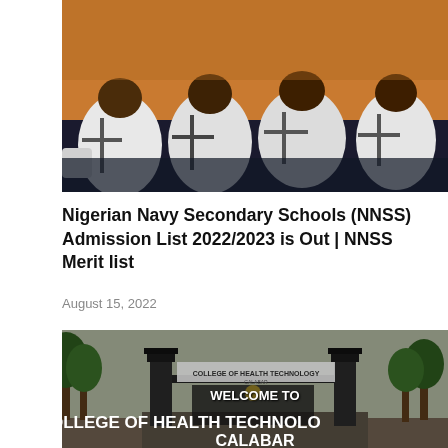[Figure (photo): Students seen from behind sitting in a classroom/exam hall, wearing white shirts with cross/stripe patterns on the back, orange walls visible in background]
Nigerian Navy Secondary Schools (NNSS) Admission List 2022/2023 is Out | NNSS Merit list
August 15, 2022
[Figure (photo): Entrance gate of College of Health Technology Calabar with text overlay: WELCOME TO COLLEGE OF HEALTH TECHNOLOGY CALABAR]